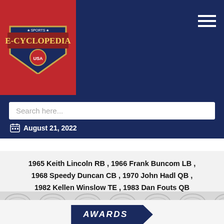[Figure (logo): Sports E-Cyclopedia logo on red background with shield emblem]
Search here...
August 21, 2022
1965 Keith Lincoln RB , 1966 Frank Buncom LB , 1968 Speedy Duncan CB , 1970 John Hadl QB , 1982 Kellen Winslow TE , 1983 Dan Fouts QB
[Figure (illustration): Decorative watermark with repeated arch/bolt patterns on grey background]
AWARDS
Coach of the Year